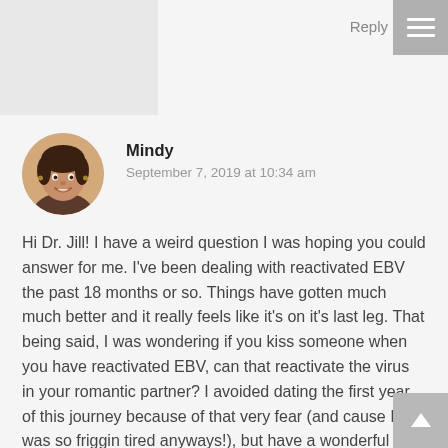Reply
[Figure (photo): Profile photo of a woman named Mindy, circular crop]
Mindy
September 7, 2019 at 10:34 am
Hi Dr. Jill! I have a weird question I was hoping you could answer for me. I've been dealing with reactivated EBV the past 18 months or so. Things have gotten much much better and it really feels like it's on it's last leg. That being said, I was wondering if you kiss someone when you have reactivated EBV, can that reactivate the virus in your romantic partner? I avoided dating the first year of this journey because of that very fear (and cause I was so friggin tired anyways!), but have a wonderful partner that I've tried hard not to infect if